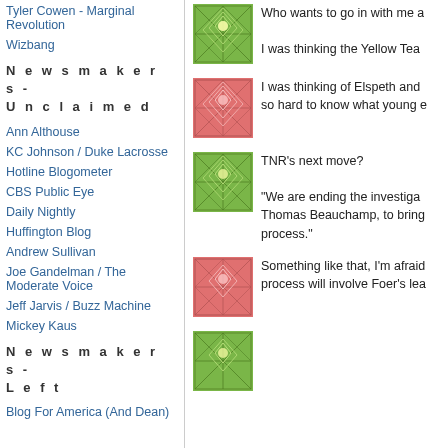Tyler Cowen - Marginal Revolution
Wizbang
N e w s m a k e r s   -   U n c l a i m e d
Ann Althouse
KC Johnson / Duke Lacrosse
Hotline Blogometer
CBS Public Eye
Daily Nightly
Huffington Blog
Andrew Sullivan
Joe Gandelman / The Moderate Voice
Jeff Jarvis / Buzz Machine
Mickey Kaus
N e w s m a k e r s   -   L e f t
Blog For America (And Dean)
[Figure (illustration): Green decorative square thumbnail with geometric star/web pattern]
Who wants to go in with me a
I was thinking the Yellow Tea
[Figure (illustration): Pink/red decorative square thumbnail with geometric star/web pattern]
I was thinking of Elspeth and so hard to know what young e
[Figure (illustration): Green decorative square thumbnail with geometric star/web pattern]
TNR's next move?

"We are ending the investiga Thomas Beauchamp, to bring process."
[Figure (illustration): Pink/red decorative square thumbnail with geometric star/web pattern]
Something like that, I'm afraid process will involve Foer's lea
[Figure (illustration): Green decorative square thumbnail with geometric star/web pattern]